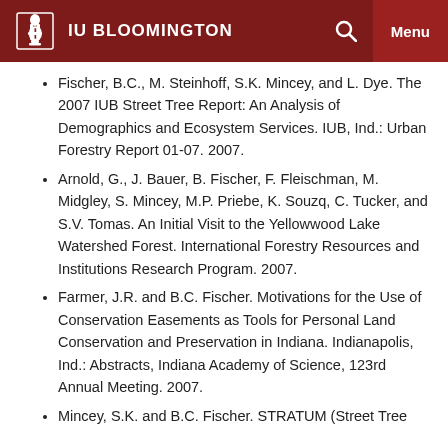IU BLOOMINGTON
Fischer, B.C., M. Steinhoff, S.K. Mincey, and L. Dye. The 2007 IUB Street Tree Report: An Analysis of Demographics and Ecosystem Services. IUB, Ind.: Urban Forestry Report 01-07. 2007.
Arnold, G., J. Bauer, B. Fischer, F. Fleischman, M. Midgley, S. Mincey, M.P. Priebe, K. Souzq, C. Tucker, and S.V. Tomas. An Initial Visit to the Yellowwood Lake Watershed Forest. International Forestry Resources and Institutions Research Program. 2007.
Farmer, J.R. and B.C. Fischer. Motivations for the Use of Conservation Easements as Tools for Personal Land Conservation and Preservation in Indiana. Indianapolis, Ind.: Abstracts, Indiana Academy of Science, 123rd Annual Meeting. 2007.
Mincey, S.K. and B.C. Fischer. STRATUM (Street Tree ...